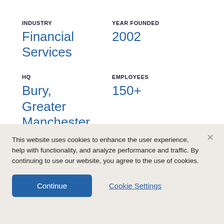INDUSTRY
YEAR FOUNDED
Financial Services
2002
HQ
EMPLOYEES
Bury, Greater Manchester, UK
150+
This website uses cookies to enhance the user experience, help with functionality, and analyze performance and traffic. By continuing to use our website, you agree to the use of cookies.
Continue
Cookie Settings